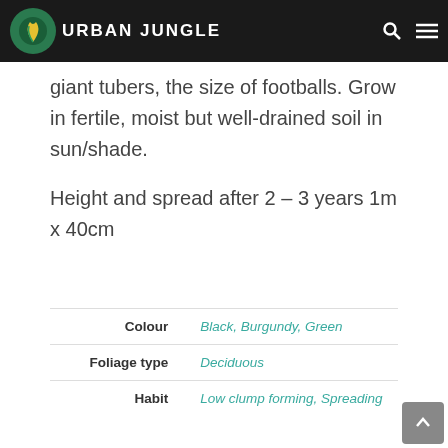Urban Jungle
giant tubers, the size of footballs. Grow in fertile, moist but well-drained soil in sun/shade.

Height and spread after 2 – 3 years 1m x 40cm
| Colour | Black, Burgundy, Green |
| Foliage type | Deciduous |
| Habit | Low clump forming, Spreading |